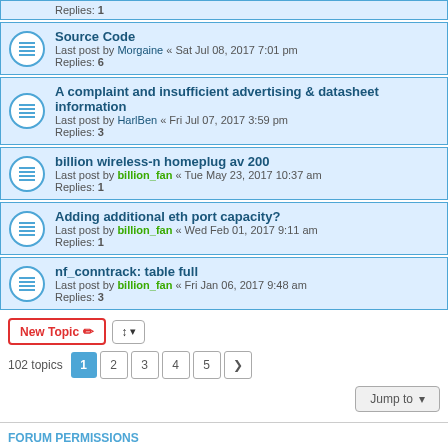Replies: 1
Source Code
Last post by Morgaine « Sat Jul 08, 2017 7:01 pm
Replies: 6
A complaint and insufficient advertising & datasheet information
Last post by HarlBen « Fri Jul 07, 2017 3:59 pm
Replies: 3
billion wireless-n homeplug av 200
Last post by billion_fan « Tue May 23, 2017 10:37 am
Replies: 1
Adding additional eth port capacity?
Last post by billion_fan « Wed Feb 01, 2017 9:11 am
Replies: 1
nf_conntrack: table full
Last post by billion_fan « Fri Jan 06, 2017 9:48 am
Replies: 3
102 topics  1 2 3 4 5 >
Jump to
FORUM PERMISSIONS
You cannot post new topics in this forum
You cannot reply to topics in this forum